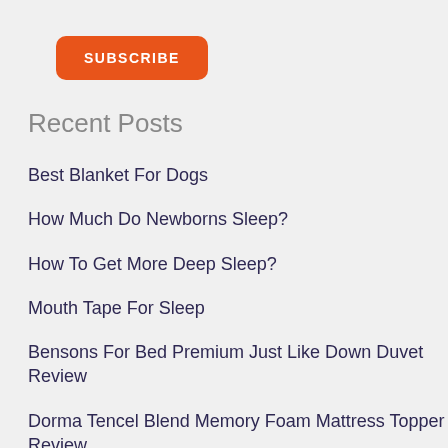[Figure (other): Orange rounded rectangle SUBSCRIBE button]
Recent Posts
Best Blanket For Dogs
How Much Do Newborns Sleep?
How To Get More Deep Sleep?
Mouth Tape For Sleep
Bensons For Bed Premium Just Like Down Duvet Review
Dorma Tencel Blend Memory Foam Mattress Topper Review
How To Dress a Baby For Sleep?
Best Firm Pillows
Spundown Pillow Review